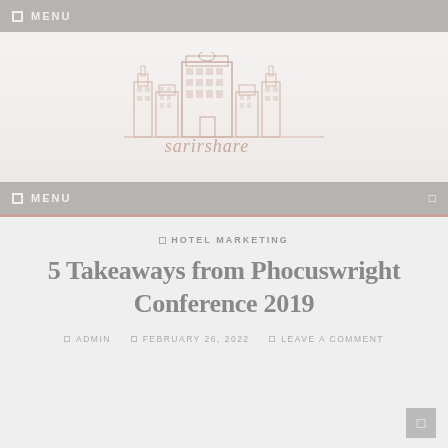☐ MENU
[Figure (logo): Sarirshare website logo with building/cityscape illustration in faded rose/beige tones and text 'sarirshare' below]
☐ MENU
☐ HOTEL MARKETING
5 Takeaways from Phocuswright Conference 2019
☐ ADMIN  ☐ FEBRUARY 26, 2022  ☐ LEAVE A COMMENT